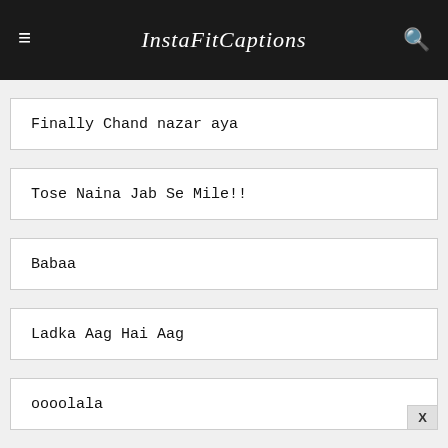InstaFitCaptions
Finally Chand nazar aya
Tose Naina Jab Se Mile!!
Babaa
Ladka Aag Hai Aag
oooolala